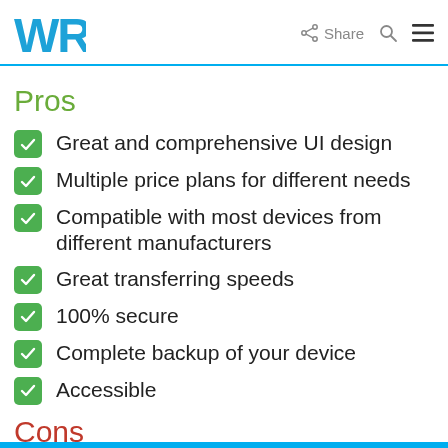WR | Share
Pros
Great and comprehensive UI design
Multiple price plans for different needs
Compatible with most devices from different manufacturers
Great transferring speeds
100% secure
Complete backup of your device
Accessible
Cons